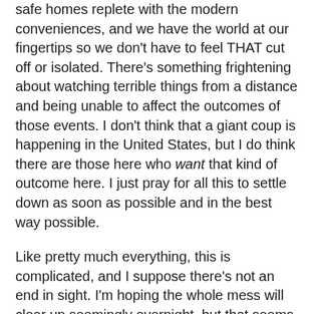safe homes replete with the modern conveniences, and we have the world at our fingertips so we don't have to feel THAT cut off or isolated. There's something frightening about watching terrible things from a distance and being unable to affect the outcomes of those events. I don't think that a giant coup is happening in the United States, but I do think there are those here who want that kind of outcome here. I just pray for all this to settle down as soon as possible and in the best way possible.
Like pretty much everything, this is complicated, and I suppose there's not an end in sight. I'm hoping the whole mess will clear up seemingly overnight, but that seems unlikely. Ambulance Driver has lately been reporting thousands of new cases daily in Louisiana, and he's on the front lines. It will be good for this to be over. I hope this is the last incident of its kind, and that people home and abroad will be able to recover quickly.
There is still beauty in the world. Babies are born every day and bringing great joy to their families. Flowers are blooming. The winter is moving with haste to the back of the rearview mirror, and hopefully soon COVID-19 will join it in the past...